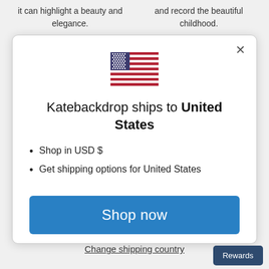it can highlight a beauty and elegance.
and record the beautiful childhood.
[Figure (illustration): US flag emoji/icon shown at top center of modal dialog]
Katebackdrop ships to United States
Shop in USD $
Get shipping options for United States
Shop now
Change shipping country
Rewards